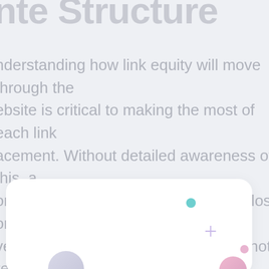nte Structure
nderstanding how link equity will move through the ebsite is critical to making the most of each link acement. Without detailed awareness of this, a onsiderable quantity of power will be lost or verted to regions of the shop that do not require k equity. This is always one of the first things we erform when we start a new ecommerce link-uilding project. Once we know the URLs you want us focus on, we ensure that the link equity is istributed in a way that strengthens those specific ages.
[Figure (illustration): White rounded card with decorative colored dots and a plus icon — teal dot at top, lavender/purple plus sign in center-right, pink dot at bottom right, and partially visible grey and pink circles at bottom]